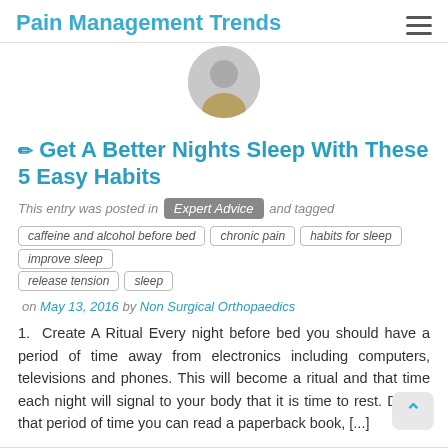Pain Management Trends
Get A Better Nights Sleep With These 5 Easy Habits
This entry was posted in Expert Advice and tagged
caffeine and alcohol before bed
chronic pain
habits for sleep
improve sleep
release tension
sleep
on May 13, 2016 by Non Surgical Orthopaedics
1.  Create A Ritual Every night before bed you should have a period of time away from electronics including computers, televisions and phones. This will become a ritual and that time each night will signal to your body that it is time to rest. During that period of time you can read a paperback book, [...]